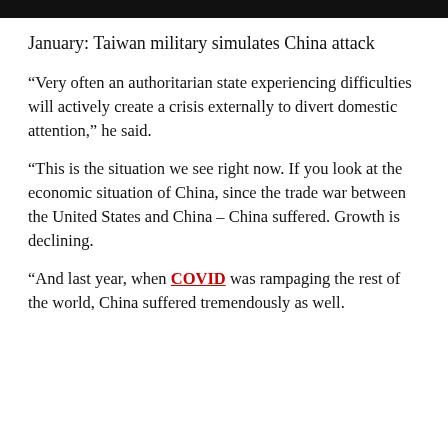January: Taiwan military simulates China attack
“Very often an authoritarian state experiencing difficulties will actively create a crisis externally to divert domestic attention,” he said.
“This is the situation we see right now. If you look at the economic situation of China, since the trade war between the United States and China – China suffered. Growth is declining.
“And last year, when COVID was rampaging the rest of the world, China suffered tremendously as well.